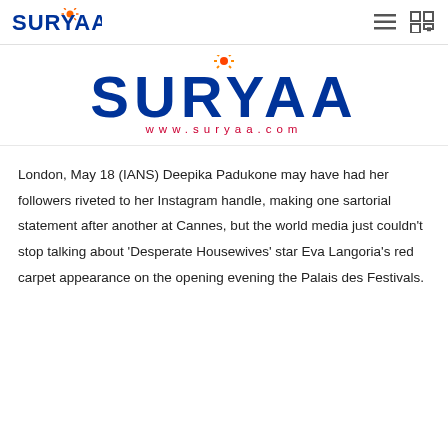SURYAA
[Figure (logo): SURYAA news website logo with sun graphic, large blue bold text 'SURYAA' and red URL 'www.suryaa.com']
London, May 18 (IANS) Deepika Padukone may have had her followers riveted to her Instagram handle, making one sartorial statement after another at Cannes, but the world media just couldn't stop talking about 'Desperate Housewives' star Eva Langoria's red carpet appearance on the opening evening the Palais des Festivals.